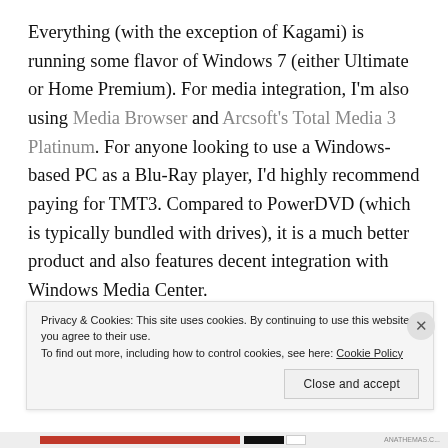Everything (with the exception of Kagami) is running some flavor of Windows 7 (either Ultimate or Home Premium). For media integration, I'm also using Media Browser and Arcsoft's Total Media 3 Platinum. For anyone looking to use a Windows-based PC as a Blu-Ray player, I'd highly recommend paying for TMT3. Compared to PowerDVD (which is typically bundled with drives), it is a much better product and also features decent integration with Windows Media Center. It also comes with the SimHD plugin, which does...
Privacy & Cookies: This site uses cookies. By continuing to use this website, you agree to their use. To find out more, including how to control cookies, see here: Cookie Policy